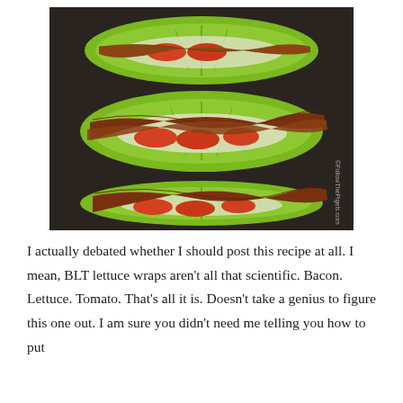[Figure (photo): Overhead photo of three BLT lettuce wraps arranged on a dark surface. Each wrap consists of a romaine lettuce leaf filled with bacon strips, sliced tomatoes, and a white sauce/mayo, laid open face showing the ingredients.]
I actually debated whether I should post this recipe at all. I mean, BLT lettuce wraps aren't all that scientific. Bacon. Lettuce. Tomato. That's all it is. Doesn't take a genius to figure this one out. I am sure you didn't need me telling you how to put